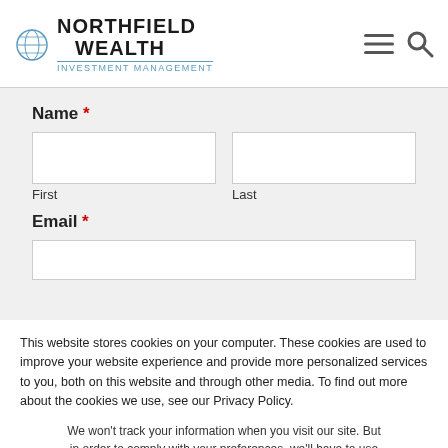[Figure (logo): Northfield Wealth logo with globe icon, hamburger menu icon, and search icon in header]
Name *
First
Last
Email *
This website stores cookies on your computer. These cookies are used to improve your website experience and provide more personalized services to you, both on this website and through other media. To find out more about the cookies we use, see our Privacy Policy.
We won't track your information when you visit our site. But in order to comply with your preferences, we'll have to use just one tiny cookie so that you're not asked to make this choice again.
Accept
Decline